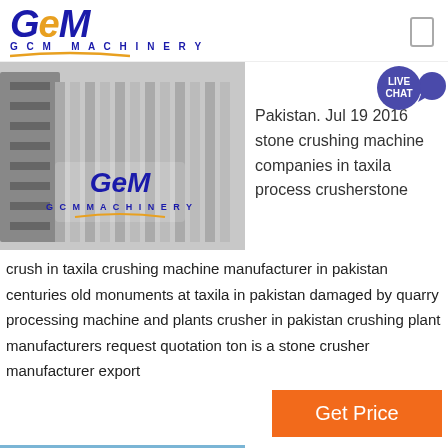[Figure (logo): GCM Machinery logo with blue italic text and gold arc underline]
[Figure (photo): Industrial stone crushing machine equipment, GCM Machinery branded]
Pakistan. Jul 19 2016 stone crushing machine companies in taxila process crusherstone
crush in taxila crushing machine manufacturer in pakistan centuries old monuments at taxila in pakistan damaged by quarry processing machine and plants crusher in pakistan crushing plant manufacturers request quotation ton is a stone crusher manufacturer export
Get Price
[Figure (photo): Industrial machinery against blue sky with clouds]
Taxila Crushing Machine